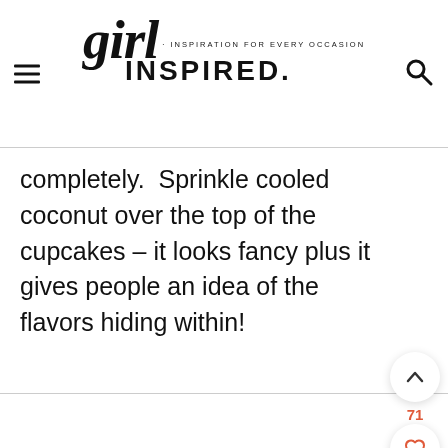girl INSPIRED. · INSPIRATION FOR EVERY OCCASION
completely.  Sprinkle cooled coconut over the top of the cupcakes – it looks fancy plus it gives people an idea of the flavors hiding within!